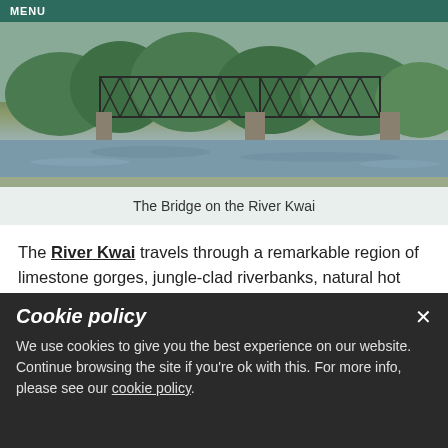MENU
[Figure (photo): Photograph of the Bridge on the River Kwai, a steel truss railway bridge over a wide river with green trees and cloudy sky in the background.]
The Bridge on the River Kwai
The River Kwai travels through a remarkable region of limestone gorges, jungle-clad riverbanks, natural hot springs and tiered waterfalls. Cruises begin and end in Bangkok and include a visit to Kanchanaburi, a provincial town known for its World War II sites such as the Bridge on the River Kwai, Hellfire Pass and the Death Railway, which you can take a trip along as part of
Cookie policy
We use cookies to give you the best experience on our website. Continue browsing the site if you're ok with this. For more info, please see our cookie policy.